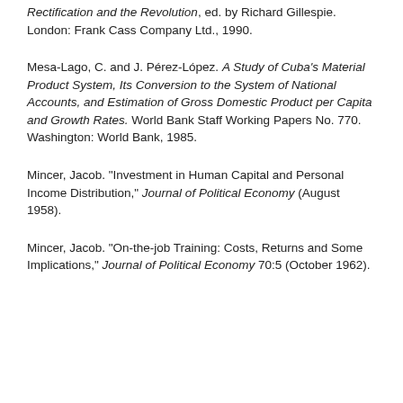Rectification and the Revolution, ed. by Richard Gillespie. London: Frank Cass Company Ltd., 1990.
Mesa-Lago, C. and J. Pérez-López. A Study of Cuba's Material Product System, Its Conversion to the System of National Accounts, and Estimation of Gross Domestic Product per Capita and Growth Rates. World Bank Staff Working Papers No. 770. Washington: World Bank, 1985.
Mincer, Jacob. "Investment in Human Capital and Personal Income Distribution," Journal of Political Economy (August 1958).
Mincer, Jacob. "On-the-job Training: Costs, Returns and Some Implications," Journal of Political Economy 70:5 (October 1962).